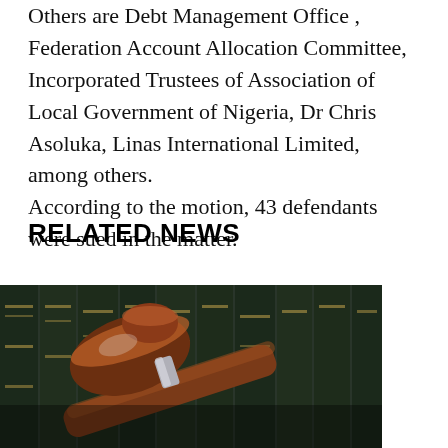Others are Debt Management Office , Federation Account Allocation Committee, Incorporated Trustees of Association of Local Government of Nigeria, Dr Chris Asoluka, Linas International Limited, among others. According to the motion, 43 defendants were sued in the matter.
RELATED NEWS
[Figure (photo): A wooden judge's gavel resting on a surface in the foreground, with a row of law books with dark covers and gold lettering visible blurred in the background.]